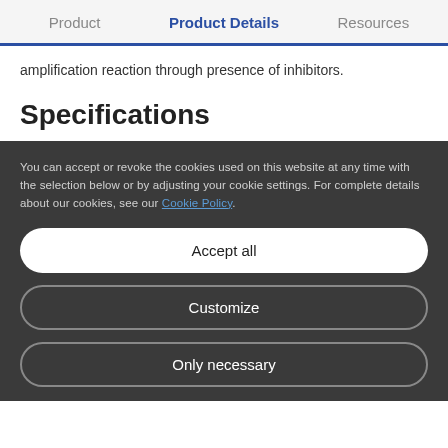Product | Product Details | Resources
amplification reaction through presence of inhibitors.
Specifications
You can accept or revoke the cookies used on this website at any time with the selection below or by adjusting your cookie settings. For complete details about our cookies, see our Cookie Policy.
Accept all
Customize
Only necessary